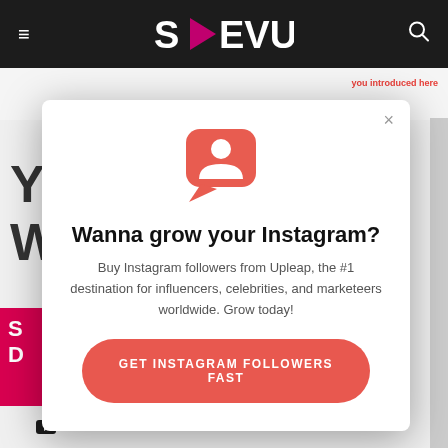[Figure (screenshot): SMEVU website header with dark background, hamburger menu icon on left, search icon on right, and SMEVU logo with pink triangle in center]
[Figure (screenshot): Background website content partially visible behind modal overlay, including pink/magenta sidebar elements, text fragments 'Y', 'W', 'you introduced here' in red, and YouTube label at bottom]
[Figure (infographic): Modal popup dialog with coral/red chat bubble icon showing person silhouette, heading 'Wanna grow your Instagram?', body text about Upleap, and coral CTA button 'GET INSTAGRAM FOLLOWERS FAST']
Wanna grow your Instagram?
Buy Instagram followers from Upleap, the #1 destination for influencers, celebrities, and marketeers worldwide. Grow today!
GET INSTAGRAM FOLLOWERS FAST
I ACCEPT
YOUTUBE